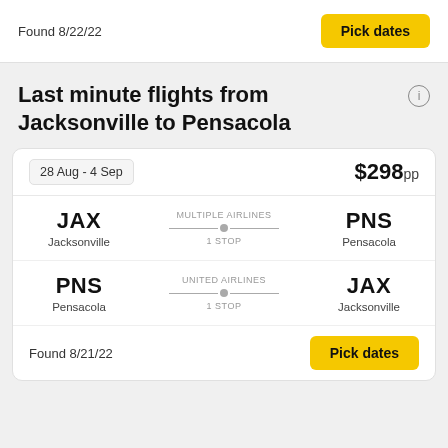Found 8/22/22
Pick dates
Last minute flights from Jacksonville to Pensacola
28 Aug - 4 Sep
$298pp
JAX Jacksonville — MULTIPLE AIRLINES 1 STOP — PNS Pensacola
PNS Pensacola — UNITED AIRLINES 1 STOP — JAX Jacksonville
Found 8/21/22
Pick dates